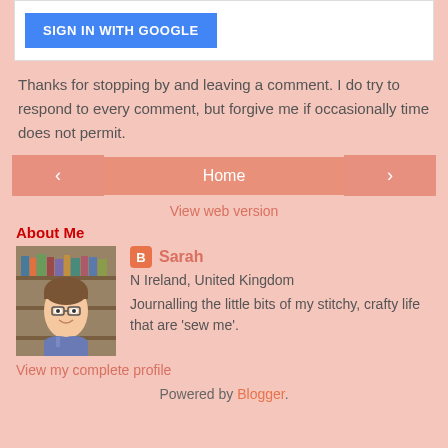[Figure (screenshot): SIGN IN WITH GOOGLE blue button inside white box]
Thanks for stopping by and leaving a comment. I do try to respond to every comment, but forgive me if occasionally time does not permit.
[Figure (infographic): Navigation row with left arrow, Home button, right arrow, and View web version link]
About Me
[Figure (photo): Profile photo of Sarah, a woman with short hair and glasses smiling]
Sarah
N Ireland, United Kingdom
Journalling the little bits of my stitchy, crafty life that are 'sew me'.
View my complete profile
Powered by Blogger.